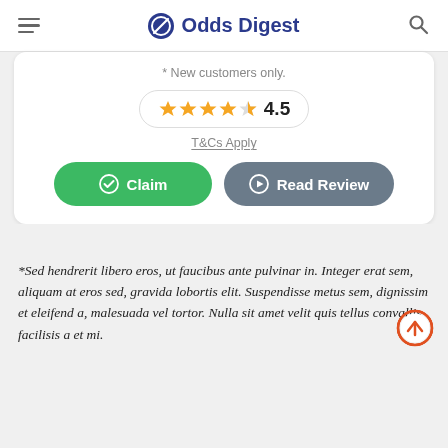Odds Digest
* New customers only.
4.5
T&Cs Apply
Claim
Read Review
*Sed hendrerit libero eros, ut faucibus ante pulvinar in. Integer erat sem, aliquam at eros sed, gravida lobortis elit. Suspendisse metus sem, dignissim et eleifend a, malesuada vel tortor. Nulla sit amet velit quis tellus convallis facilisis a et mi.